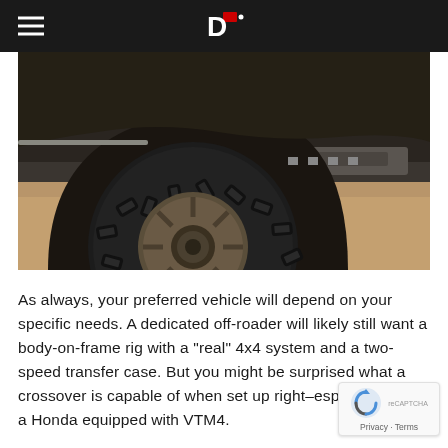[Figure (photo): Close-up photo of a large off-road tire on an SUV/truck, shot from a low angle showing aggressive tread pattern, bronze/dark alloy wheel, vehicle running boards visible in background, sandy/dirt ground surface, warm lighting]
As always, your preferred vehicle will depend on your specific needs. A dedicated off-roader will likely still want a body-on-frame rig with a "real" 4x4 system and a two-speed transfer case. But you might be surprised what a crossover is capable of when set up right–especially if it's a Honda equipped with VTM4.